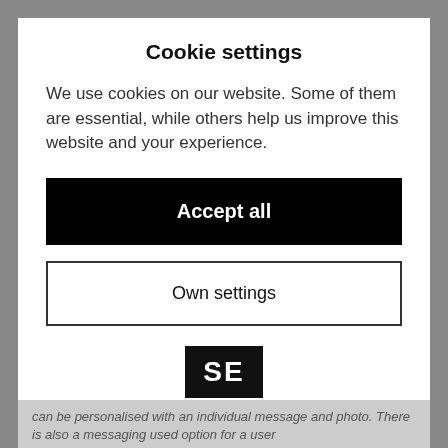Cookie settings
We use cookies on our website. Some of them are essential, while others help us improve this website and your experience.
[Figure (other): Black 'Accept all' button]
[Figure (other): White 'Own settings' button with black border]
[Figure (logo): SE logo in black square]
Privacy Policy
can be personalised with an individual message and photo. There is also a messaging used option for a user